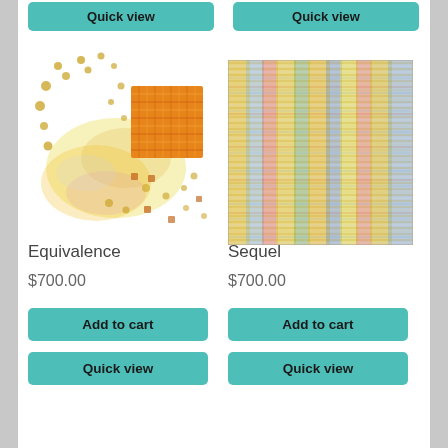[Figure (other): Quick view button (teal/turquoise rounded rectangle) at top left]
[Figure (other): Quick view button (teal/turquoise rounded rectangle) at top right]
[Figure (illustration): Abstract artwork titled Equivalence — scattered golden dots and blurred yellow-orange paint splashes with an orange woven square texture on right side]
[Figure (illustration): Abstract artwork titled Sequel — dense vertical color stripes in yellow, blue, red, green creating a woven/hatched textile-like pattern]
Equivalence
Sequel
$700.00
$700.00
Add to cart
Add to cart
Quick view
Quick view